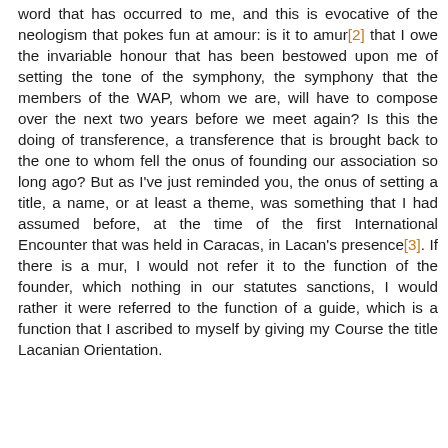word that has occurred to me, and this is evocative of the neologism that pokes fun at amour: is it to amur[2] that I owe the invariable honour that has been bestowed upon me of setting the tone of the symphony, the symphony that the members of the WAP, whom we are, will have to compose over the next two years before we meet again? Is this the doing of transference, a transference that is brought back to the one to whom fell the onus of founding our association so long ago? But as I've just reminded you, the onus of setting a title, a name, or at least a theme, was something that I had assumed before, at the time of the first International Encounter that was held in Caracas, in Lacan's presence[3]. If there is a mur, I would not refer it to the function of the founder, which nothing in our statutes sanctions, I would rather it were referred to the function of a guide, which is a function that I ascribed to myself by giving my Course the title Lacanian Orientation.